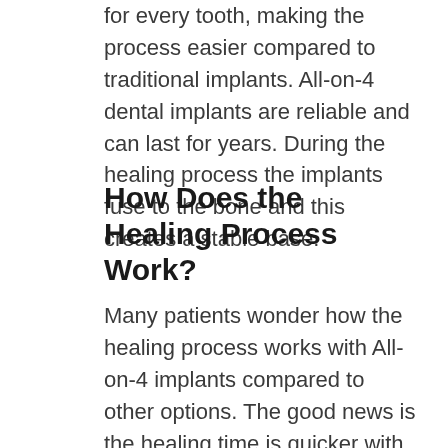for every tooth, making the process easier compared to traditional implants. All-on-4 dental implants are reliable and can last for years. During the healing process the implants fuse to the bone and this creates a stable base.
How Does the Healing Process Work?
Many patients wonder how the healing process works with All-on-4 implants compared to other options. The good news is the healing time is quicker with All-on-4 compared to traditional implants. Patients should still plan for a few months of healing as the implants fuse to the